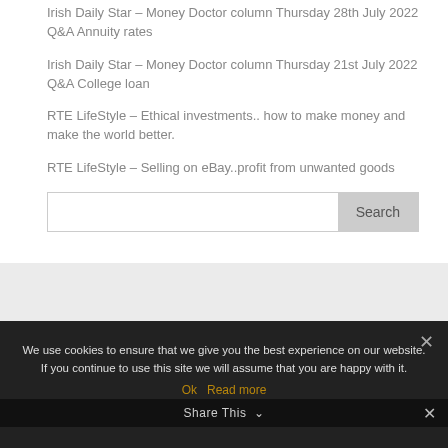Irish Daily Star – Money Doctor column Thursday 28th July 2022
Q&A Annuity rates
Irish Daily Star – Money Doctor column Thursday 21st July 2022
Q&A College loan
RTE LifeStyle – Ethical investments.. how to make money and make the world better.
RTE LifeStyle – Selling on eBay..profit from unwanted goods
Search
We use cookies to ensure that we give you the best experience on our website. If you continue to use this site we will assume that you are happy with it.
Ok   Read more
Share This